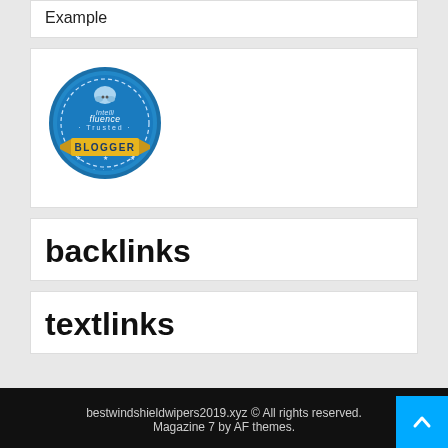Example
[Figure (logo): Intellifluence Trusted Blogger badge — circular blue badge with yellow ribbon banner at the bottom reading BLOGGER]
backlinks
textlinks
bestwindshieldwipers2019.xyz © All rights reserved. Magazine 7 by AF themes.